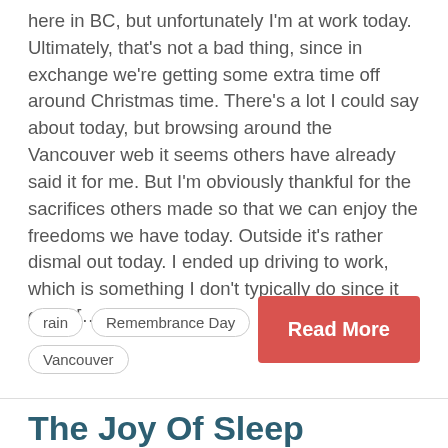here in BC, but unfortunately I'm at work today. Ultimately, that's not a bad thing, since in exchange we're getting some extra time off around Christmas time. There's a lot I could say about today, but browsing around the Vancouver web it seems others have already said it for me. But I'm obviously thankful for the sacrifices others made so that we can enjoy the freedoms we have today. Outside it's rather dismal out today. I ended up driving to work, which is something I don't typically do since it costs […]
rain
Remembrance Day
sleep
Tuesday
Vancouver
Read More
The Joy Of Sleep